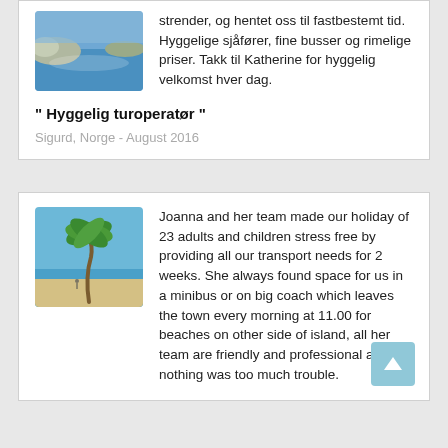strender, og hentet oss til fastbestemt tid. Hyggelige sjåfører, fine busser og rimelige priser. Takk til Katherine for hyggelig velkomst hver dag.
" Hyggelig turoperatør "
Sigurd, Norge - August 2016
Joanna and her team made our holiday of 23 adults and children stress free by providing all our transport needs for 2 weeks. She always found space for us in a minibus or on big coach which leaves the town every morning at 11.00 for beaches on other side of island, all her team are friendly and professional and nothing was too much trouble.